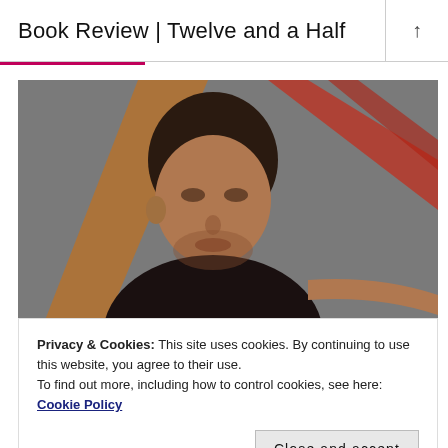Book Review | Twelve and a Half
[Figure (photo): Close-up photograph of a man with short dark hair, pointing with his right hand. Background shows blurred orange and red diagonal lines or ribbons on a grey surface.]
Privacy & Cookies: This site uses cookies. By continuing to use this website, you agree to their use.
To find out more, including how to control cookies, see here: Cookie Policy
Close and accept